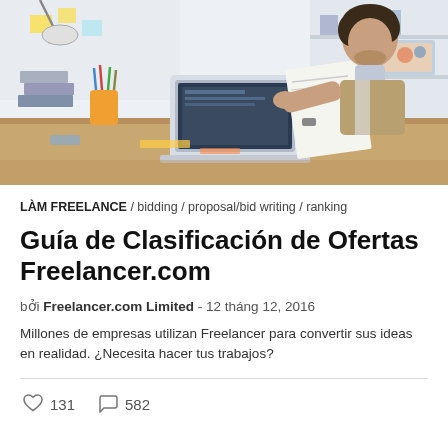[Figure (photo): Man sitting at a desk with a laptop, reading a paper document in a bright office/home workspace with art supplies and sticky notes in the background.]
LÀM FREELANCE / bidding / proposal/bid writing / ranking
Guía de Clasificación de Ofertas Freelancer.com
bởi Freelancer.com Limited - 12 tháng 12, 2016
Millones de empresas utilizan Freelancer para convertir sus ideas en realidad. ¿Necesita hacer tus trabajos?
131    582